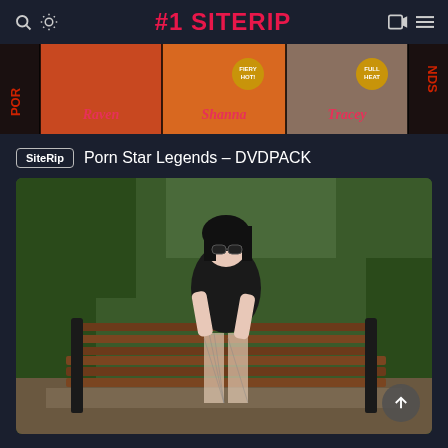#1 SITERIP
[Figure (photo): Banner strip showing three adult DVD covers with names Raven, Shanna, Tracey, partially cropped with POR and NDS text on the sides]
SiteRip   Porn Star Legends – DVDPACK
[Figure (photo): Young woman with dark hair and sunglasses wearing a black outfit with fishnet stockings, sitting on a wooden park bench surrounded by green foliage]